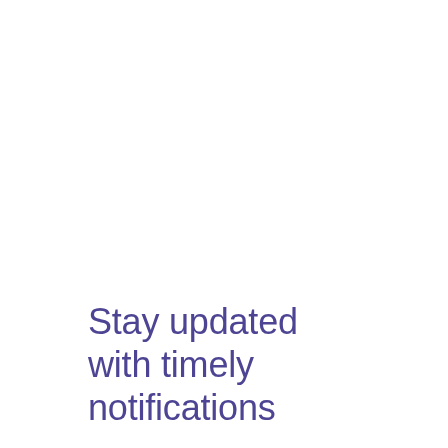Stay updated with timely notifications